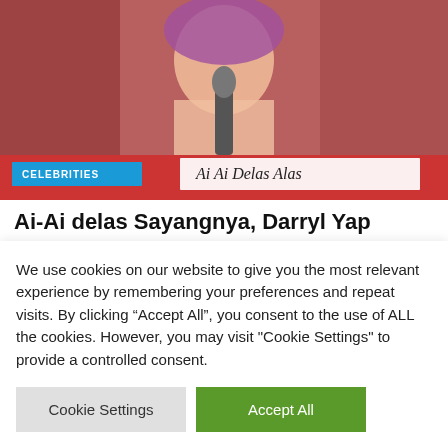[Figure (photo): Celebrity photo of Ai Ai Delas Alas at a press conference holding a microphone, with a nameplate reading 'Ai Ai Delas Alas' visible. A 'CELEBRITIES' tag is shown in the lower left of the image.]
Ai-Ai delas Sayangnya, Darryl Yap menyatakan personae non gratae di Kota Quezon
We use cookies on our website to give you the most relevant experience by remembering your preferences and repeat visits. By clicking “Accept All”, you consent to the use of ALL the cookies. However, you may visit "Cookie Settings" to provide a controlled consent.